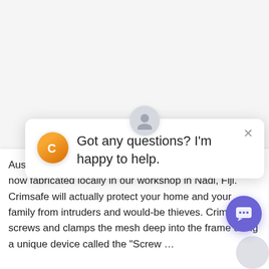[Figure (screenshot): A chat popup widget appearing over a white webpage. The popup shows an avatar circle with a user silhouette icon at top center, an orange logo icon on the left, and a close (×) button at top right. The popup text reads: 'Got any questions? I'm happy to help.' Below the popup, partially obscured body text reads: 'Australia's leading security screen supplier, Crimsafe is now fabricated locally in our workshop in Nadi, Fiji. Crimsafe will actually protect your home and your family from intruders and would-be thieves. Crimsafe screws and clamps the mesh deep into the frame using a unique device called the "Screw …'. A purple circular chat button is visible at bottom right.]